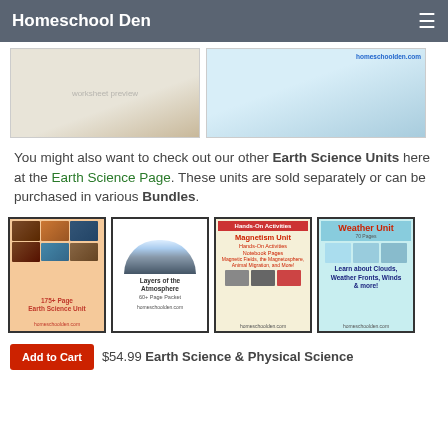Homeschool Den
[Figure (screenshot): Two partial preview images of Earth Science worksheets]
You might also want to check out our other Earth Science Units here at the Earth Science Page. These units are sold separately or can be purchased in various Bundles.
[Figure (illustration): Four product thumbnails: 175+ Page Earth Science Unit, Layers of the Atmosphere 60+ Page Packet, Magnetism Unit, Weather Unit]
Add to Cart $54.99 Earth Science & Physical Science